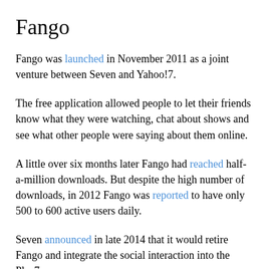Fango
Fango was launched in November 2011 as a joint venture between Seven and Yahoo!7.
The free application allowed people to let their friends know what they were watching, chat about shows and see what other people were saying about them online.
A little over six months later Fango had reached half-a-million downloads. But despite the high number of downloads, in 2012 Fango was reported to have only 500 to 600 active users daily.
Seven announced in late 2014 that it would retire Fango and integrate the social interaction into the Plus7 app.